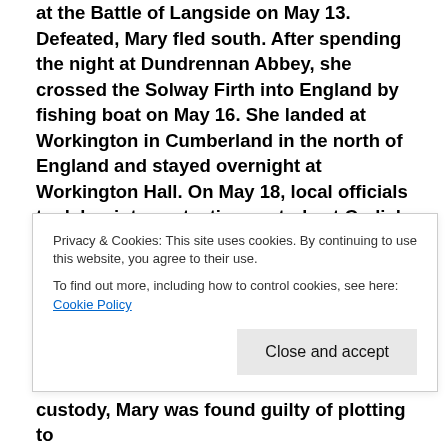at the Battle of Langside on May 13. Defeated, Mary fled south. After spending the night at Dundrennan Abbey, she crossed the Solway Firth into England by fishing boat on May 16. She landed at Workington in Cumberland in the north of England and stayed overnight at Workington Hall. On May 18, local officials took her into protective custody at Carlisle Castle.
Mary had once claimed Elizabeth's throne as her own and was considered the legitimate sovereign of England by many English Catholics, including
custody, Mary was found guilty of plotting to